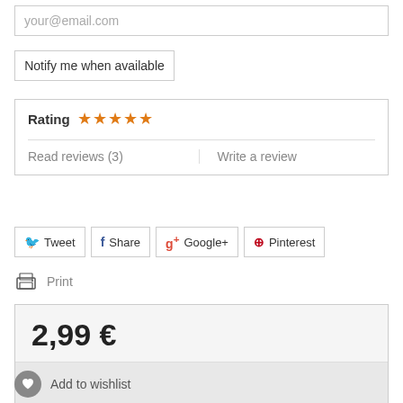your@email.com
Notify me when available
Rating ★★★★★
Read reviews (3)
Write a review
Tweet
Share
Google+
Pinterest
Print
2,99 €
Add to wishlist